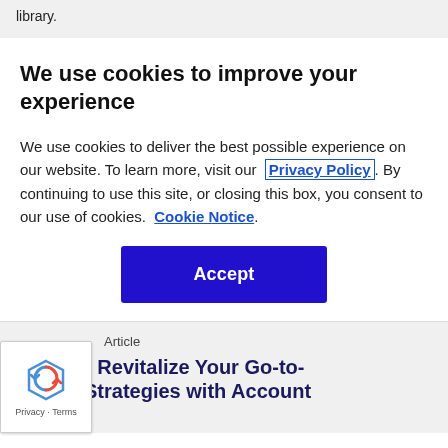library.
We use cookies to improve your experience
We use cookies to deliver the best possible experience on our website. To learn more, visit our  Privacy Policy . By continuing to use this site, or closing this box, you consent to our use of cookies.  Cookie Notice .
[Figure (other): Blue Accept button]
Article
epare to Revitalize Your Go-to-Market Strategies with Account
[Figure (other): reCAPTCHA badge with Privacy - Terms text]